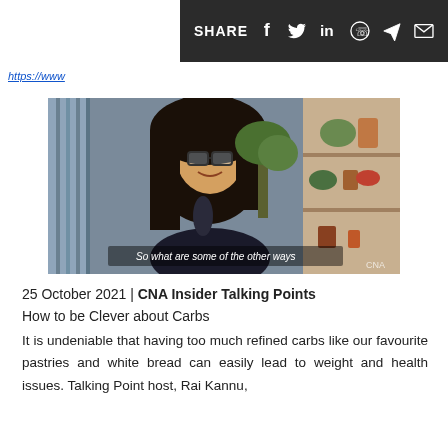SHARE [social icons: facebook, twitter, linkedin, whatsapp, telegram, email]
https://www...
[Figure (photo): A woman with glasses smiling, sitting indoors with plants and shelves in background. Subtitle text on video: 'So what are some of the other ways']
25 October 2021 | CNA Insider Talking Points
How to be Clever about Carbs
It is undeniable that having too much refined carbs like our favourite pastries and white bread can easily lead to weight and health issues. Talking Point host, Rai Kannu,